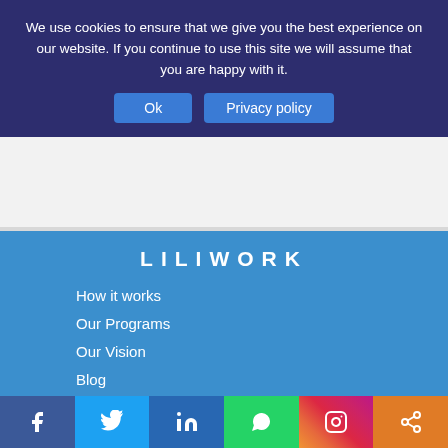We use cookies to ensure that we give you the best experience on our website. If you continue to use this site we will assume that you are happy with it.
Ok | Privacy policy
[Figure (other): White/light grey band representing page content area]
LILIWORK
How it works
Our Programs
Our Vision
Blog
[Figure (infographic): Social media icon bar: Facebook (dark blue), Twitter (light blue), LinkedIn (blue), WhatsApp (green), Instagram (gradient), Share (orange)]